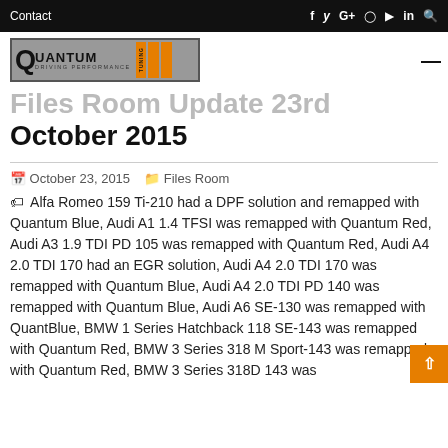Contact  f  y  G+  instagram  youtube  in  search
[Figure (logo): Quantum Tuning Driving Performance logo with orange bars]
Files Room Update 23rd October 2015
October 23, 2015   Files Room
Alfa Romeo 159 Ti-210 had a DPF solution and remapped with Quantum Blue, Audi A1 1.4 TFSI was remapped with Quantum Red, Audi A3 1.9 TDI PD 105 was remapped with Quantum Red, Audi A4 2.0 TDI 170 had an EGR solution, Audi A4 2.0 TDI 170 was remapped with Quantum Blue, Audi A4 2.0 TDI PD 140 was remapped with Quantum Blue, Audi A6 SE-130 was remapped with Quantum Blue, BMW 1 Series Hatchback 118 SE-143 was remapped with Quantum Red, BMW 3 Series 318 M Sport-143 was remapped with Quantum Red, BMW 3 Series 318D 143 was